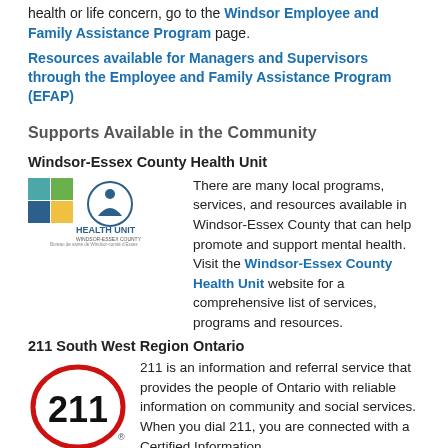health or life concern, go to the Windsor Employee and Family Assistance Program page.
Resources available for Managers and Supervisors through the Employee and Family Assistance Program (EFAP)
Supports Available in the Community
Windsor-Essex County Health Unit
[Figure (logo): Windsor-Essex County Health Unit logo with coloured squares and circular emblem]
There are many local programs, services, and resources available in Windsor-Essex County that can help promote and support mental health. Visit the Windsor-Essex County Health Unit website for a comprehensive list of services, programs and resources.
211 South West Region Ontario
[Figure (logo): 211 logo — bold '211' text inside a red oval/circle outline with registered trademark symbol]
211 is an information and referral service that provides the people of Ontario with reliable information on community and social services. When you dial 211, you are connected with a Certified Information